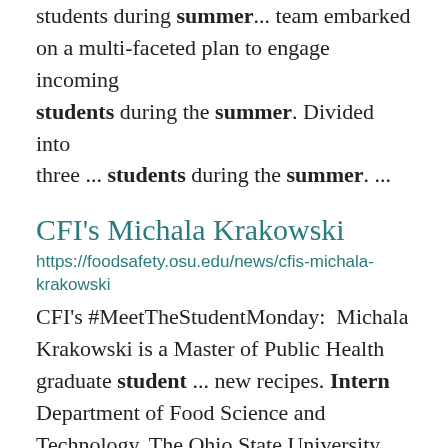students during summer... team embarked on a multi-faceted plan to engage incoming students during the summer. Divided into three ... students during the summer. ...
CFI's Michala Krakowski
https://foodsafety.osu.edu/news/cfis-michala-krakowski
CFI's #MeetTheStudentMonday: Michala Krakowski is a Master of Public Health graduate student ... new recipes. Intern Department of Food Science and Technology, The Ohio State University ...
Welcome Back!
https://foodsafety.osu.edu/news/...